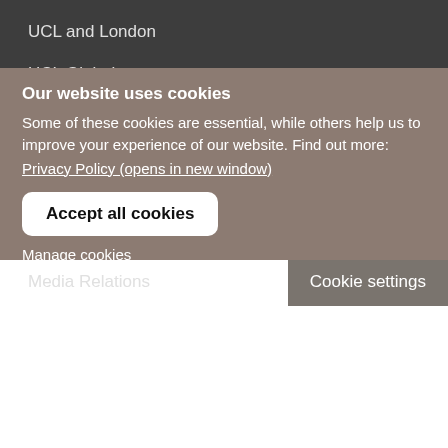UCL and London
UCL Global
UCL East
Connect with UCL
Alumni
Businesses
Media Relations
Cookie settings
Our website uses cookies
Some of these cookies are essential, while others help us to improve your experience of our website. Find out more:
Privacy Policy (opens in new window)
Accept all cookies
Manage cookies